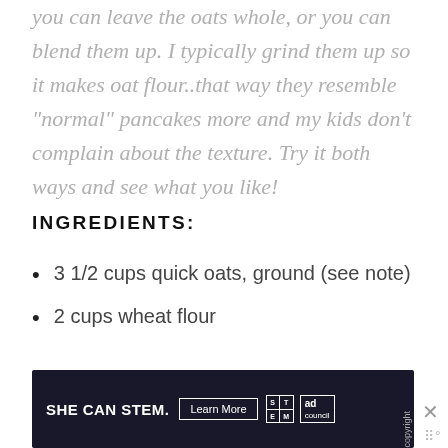you can leave the oats whole, or you can blend them up. I typically grind them up so it makes oat flour..that way they resemble "normal" pancakes more and my kids don't complain about the texture. Try it both ways and see what you like!
INGREDIENTS:
3 1/2 cups quick oats, ground (see note)
2 cups wheat flour
[Figure (screenshot): Advertisement banner with dark background reading 'SHE CAN STEM.' with a 'Learn More' button, STEM logo, and Ad Council logo. An X close button and three dots icon appear to the right.]